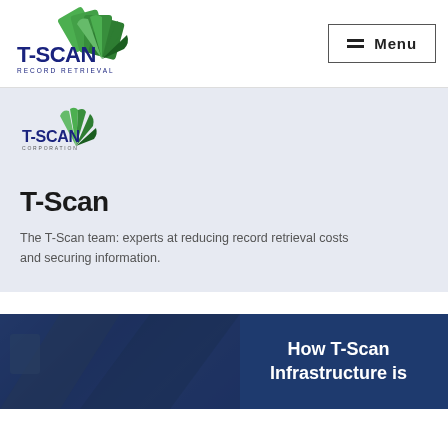T-SCAN RECORD RETRIEVAL — Menu
[Figure (logo): T-SCAN Corporation logo with green fan/card graphic and blue T-SCAN text, 'RECORD RETRIEVAL' subtitle]
[Figure (logo): T-SCAN Corporation logo (smaller version) inside hero section]
T-Scan
The T-Scan team: experts at reducing record retrieval costs and securing information.
[Figure (photo): Dark blue banner with partial photo of desk/laptop on left, text overlay on right reading 'How T-Scan Infrastructure is']